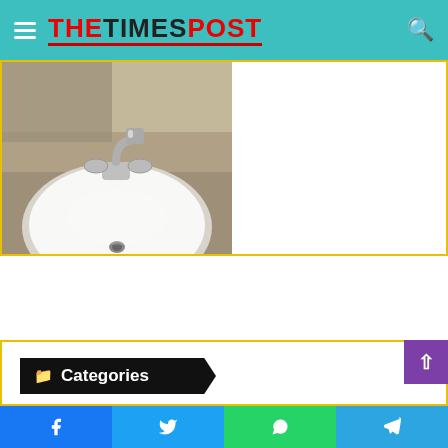THE TIMES POST
[Figure (photo): Bathroom sink with chrome faucet, white oval basin, and drain visible, with mirror reflection in background]
What is a Clogged Drain?
2 days ago
Categories
All
Automotive
Business
Facebook  Twitter  WhatsApp  Telegram